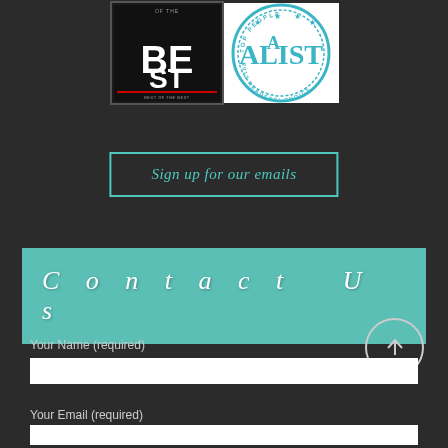[Figure (illustration): Two award badges: 'Best of the Best' magazine cover on the left and 'A-List 2012 Readers Choice' circular badge on the right]
Sign up for our emails
Contact Us
Your Name (required)
Your Email (required)